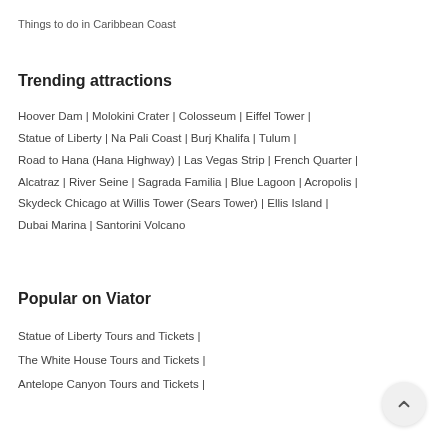Things to do in Caribbean Coast
Trending attractions
Hoover Dam | Molokini Crater | Colosseum | Eiffel Tower | Statue of Liberty | Na Pali Coast | Burj Khalifa | Tulum | Road to Hana (Hana Highway) | Las Vegas Strip | French Quarter | Alcatraz | River Seine | Sagrada Familia | Blue Lagoon | Acropolis | Skydeck Chicago at Willis Tower (Sears Tower) | Ellis Island | Dubai Marina | Santorini Volcano
Popular on Viator
Statue of Liberty Tours and Tickets |
The White House Tours and Tickets |
Antelope Canyon Tours and Tickets |